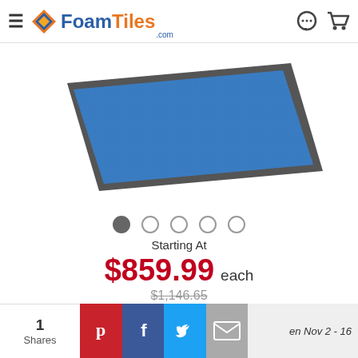FoamTiles.com
[Figure (photo): Blue foam tile / mat shown at an angle with gray border, product photo on white background]
Starting At
$859.99 each
$1,146.65
YOUR SAVINGS
MSRP
Save 25%
$1,146.65
-$286.66
1 Shares
en Nov 2 - 16